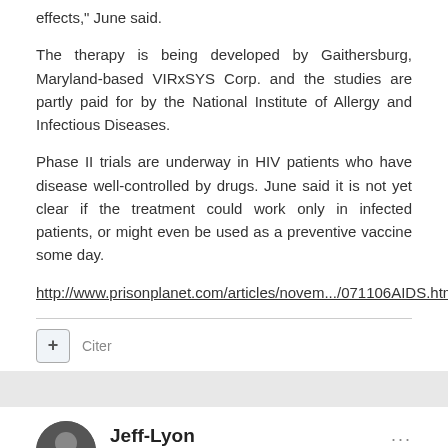effects," June said.
The therapy is being developed by Gaithersburg, Maryland-based VIRxSYS Corp. and the studies are partly paid for by the National Institute of Allergy and Infectious Diseases.
Phase II trials are underway in HIV patients who have disease well-controlled by drugs. June said it is not yet clear if the treatment could work only in infected patients, or might even be used as a preventive vaccine some day.
http://www.prisonplanet.com/articles/novem.../071106AIDS.htm
Citer
Jeff-Lyon
Posté(e) 8 novembre 2006
Hello Aixur